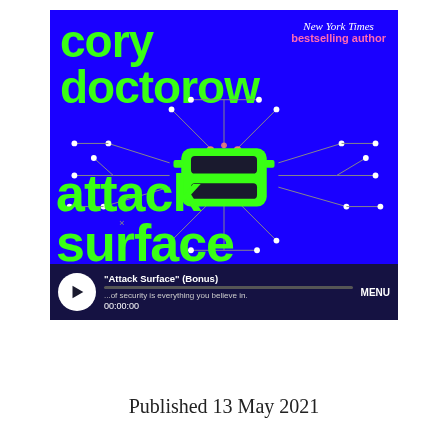[Figure (illustration): Book cover for 'Attack Surface' by Cory Doctorow. Bright blue background with large lime-green bold lowercase text reading 'cory doctorow' at the top and 'attack surface' at the bottom. A top-down view of a lime-green car is centered in the middle, surrounded by circuit board trace lines radiating outward with dots/nodes at endpoints. Top-right has white italic text 'New York Times' and pink bold text 'bestselling author'. Below the book cover image is an audio player bar with a white play button circle, track title, progress bar, and timestamp '00:00:00' plus 'MENU' label.]
Published 13 May 2021